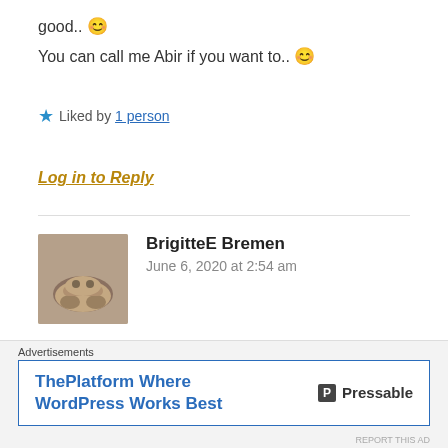good.. 😊
You can call me Abir if you want to.. 😊
★ Liked by 1 person
Log in to Reply
BrigitteE Bremen
June 6, 2020 at 2:54 am
Love it!!!
Greetings from Germany 😊
Advertisements
ThePlatform Where WordPress Works Best   Pressable